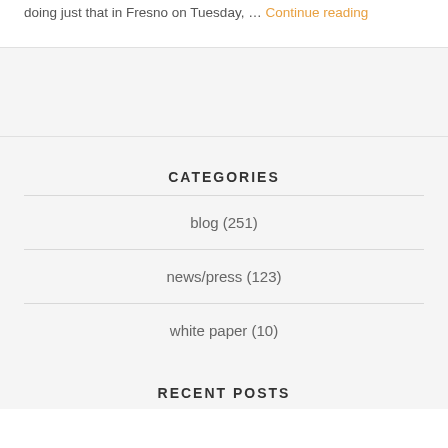doing just that in Fresno on Tuesday, … Continue reading
CATEGORIES
blog (251)
news/press (123)
white paper (10)
RECENT POSTS